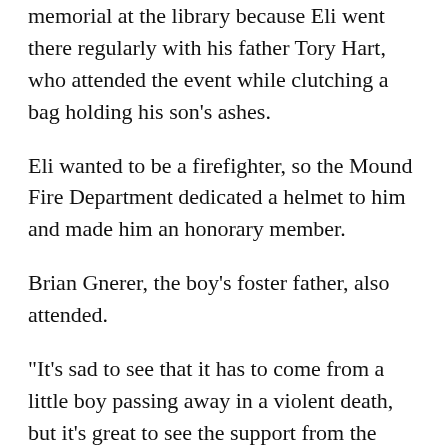memorial at the library because Eli went there regularly with his father Tory Hart, who attended the event while clutching a bag holding his son's ashes.
Eli wanted to be a firefighter, so the Mound Fire Department dedicated a helmet to him and made him an honorary member.
Brian Gnerer, the boy's foster father, also attended.
"It's sad to see that it has to come from a little boy passing away in a violent death, but it's great to see the support from the community. It's great to see people have come out to support his family and just come out together and remember Eli, remember the happy times," Gnerer said.
'They ignored us'